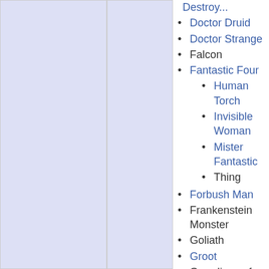Doctor Druid
Doctor Strange
Falcon
Fantastic Four
Human Torch
Invisible Woman
Mister Fantastic
Thing
Forbush Man
Frankenstein Monster
Goliath
Groot
Guardians of the Galaxy